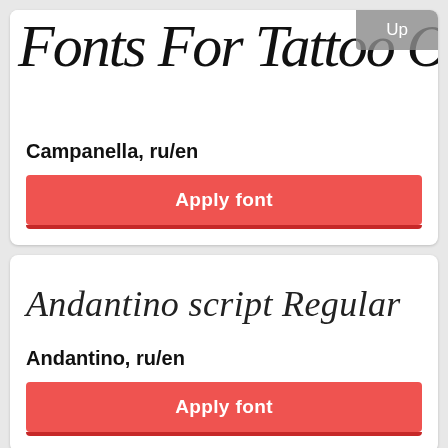[Figure (screenshot): Top card showing 'Fonts For Tattoo Online' in decorative script font with 'Up' badge overlay]
Campanella, ru/en
Apply font
[Figure (screenshot): Second card showing 'Andantino script Regular' in italic script font]
Andantino, ru/en
Apply font